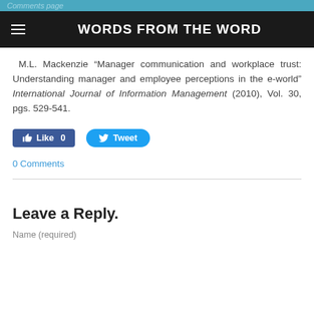WORDS FROM THE WORD
M.L. Mackenzie “Manager communication and workplace trust: Understanding manager and employee perceptions in the e-world” International Journal of Information Management (2010), Vol. 30, pgs. 529-541.
[Figure (other): Facebook Like button (count: 0) and Twitter Tweet button]
0 Comments
Leave a Reply.
Name (required)